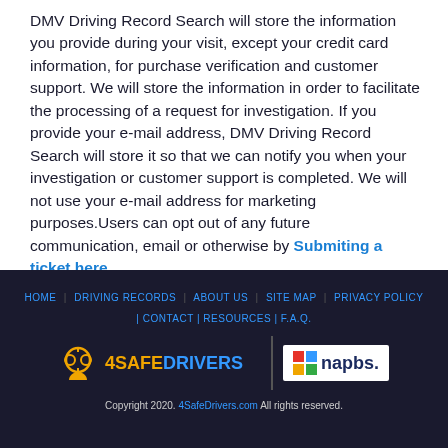DMV Driving Record Search will store the information you provide during your visit, except your credit card information, for purchase verification and customer support. We will store the information in order to facilitate the processing of a request for investigation. If you provide your e-mail address, DMV Driving Record Search will store it so that we can notify you when your investigation or customer support is completed. We will not use your e-mail address for marketing purposes. Users can opt out of any future communication, email or otherwise by Submiting a ticket here.
HOME | DRIVING RECORDS | ABOUT US | SITE MAP | PRIVACY POLICY | CONTACT | RESOURCES | F.A.Q. Copyright 2020. 4SafeDrivers.com All rights reserved.